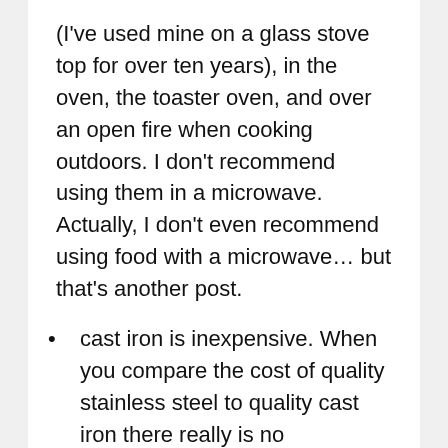(I've used mine on a glass stove top for over ten years), in the oven, the toaster oven, and over an open fire when cooking outdoors. I don't recommend using them in a microwave. Actually, I don't even recommend using food with a microwave… but that's another post.
cast iron is inexpensive. When you compare the cost of quality stainless steel to quality cast iron there really is no comparison, especially when you consider the next point:
cast iron is basically indestructible. You can use metal utensils without worrying about scratching it. They last just about forever. If you drop one, all you have to worry about